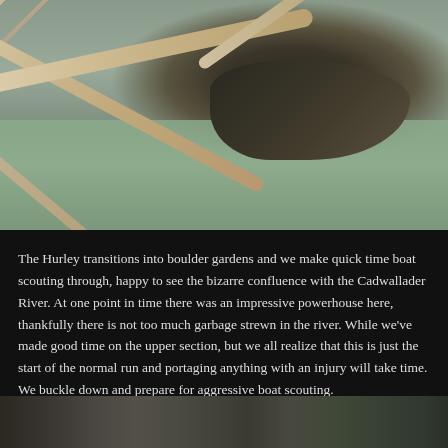[Figure (photo): River scene showing driftwood logs crossing over turbulent grey-green water with dark rocks and debris in the background]
The Hurley transitions into boulder gardens and we make quick time boat scouting through, happy to see the bizarre confluence with the Cadwallader River. At one point in time there was an impressive powerhouse here, thankfully there is not too much garbage strewn in the river. While we've made good time on the upper section, but we all realize that this is just the start of the normal run and portaging anything with an injury will take time. We buckle down and prepare for aggressive boat scouting.
[Figure (photo): Partial view of rocky riverbank with large boulders and green vegetation on the right side]